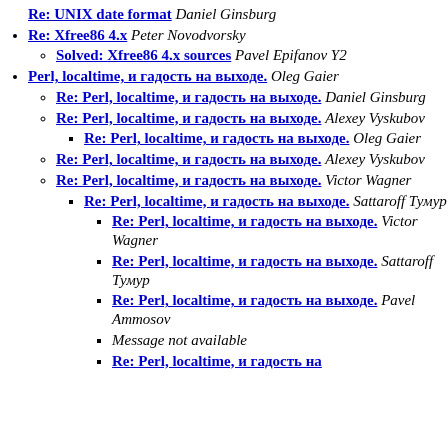Re: UNIX date format Martan Hachaturow
Re: UNIX date format Daniel Ginsburg
Re: Xfree86 4.x Peter Novodvorsky
Solved: Xfree86 4.x sources Pavel Epifanov Y2
Perl, localtime, и гадость на выходе. Oleg Gaier
Re: Perl, localtime, и гадость на выходе. Daniel Ginsburg
Re: Perl, localtime, и гадость на выходе. Alexey Vyskubov
Re: Perl, localtime, и гадость на выходе. Oleg Gaier
Re: Perl, localtime, и гадость на выходе. Alexey Vyskubov
Re: Perl, localtime, и гадость на выходе. Victor Wagner
Re: Perl, localtime, и гадость на выходе. Sattaroff Тумур
Re: Perl, localtime, и гадость на выходе. Victor Wagner
Re: Perl, localtime, и гадость на выходе. Sattaroff Тумур
Re: Perl, localtime, и гадость на выходе. Pavel Ammosov
Message not available
Re: Perl, localtime, и гадость на...